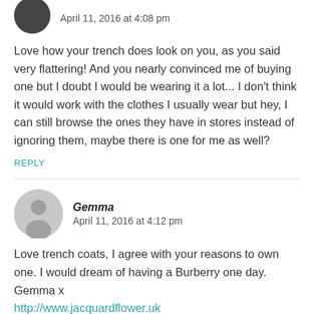April 11, 2016 at 4:08 pm
Love how your trench does look on you, as you said very flattering! And you nearly convinced me of buying one but I doubt I would be wearing it a lot... I don't think it would work with the clothes I usually wear but hey, I can still browse the ones they have in stores instead of ignoring them, maybe there is one for me as well?
REPLY
Gemma
April 11, 2016 at 4:12 pm
Love trench coats, I agree with your reasons to own one. I would dream of having a Burberry one day. Gemma x http://www.jacquardflower.uk
REPLY